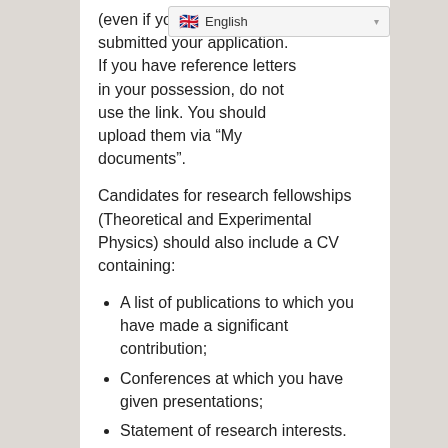(even if you have not yet submitted your application. If you have reference letters in your possession, do not use the link. You should upload them via “My documents”.
Candidates for research fellowships (Theoretical and Experimental Physics) should also include a CV containing:
A list of publications to which you have made a significant contribution;
Conferences at which you have given presentations;
Statement of research interests.
Applications are considered by the